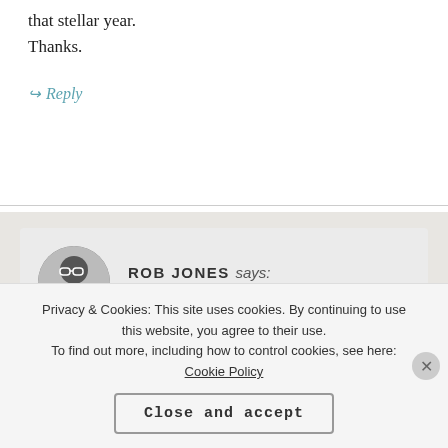that stellar year.
Thanks.
↪ Reply
ROB JONES says:
NOVEMBER 3, 2014 AT 5:18 PM
👍 0 👎 0 ℹ Rate This
It’s a stunning record as a whole. I’m glad it’s
Privacy & Cookies: This site uses cookies. By continuing to use this website, you agree to their use.
To find out more, including how to control cookies, see here:
Cookie Policy
Close and accept